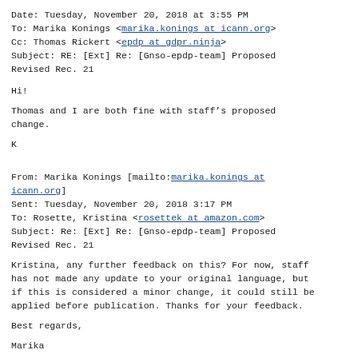Date: Tuesday, November 20, 2018 at 3:55 PM
To: Marika Konings <marika.konings at icann.org>
Cc: Thomas Rickert <epdp at gdpr.ninja>
Subject: RE: [Ext] Re: [Gnso-epdp-team] Proposed Revised Rec. 21
Hi!
Thomas and I are both fine with staff’s proposed change.
K
From: Marika Konings [mailto:marika.konings at icann.org]
Sent: Tuesday, November 20, 2018 3:17 PM
To: Rosette, Kristina <rosettek at amazon.com>
Subject: Re: [Ext] Re: [Gnso-epdp-team] Proposed Revised Rec. 21
Kristina, any further feedback on this? For now, staff has not made any update to your original language, but if this is considered a minor change, it could still be applied before publication. Thanks for your feedback.
Best regards,
Marika